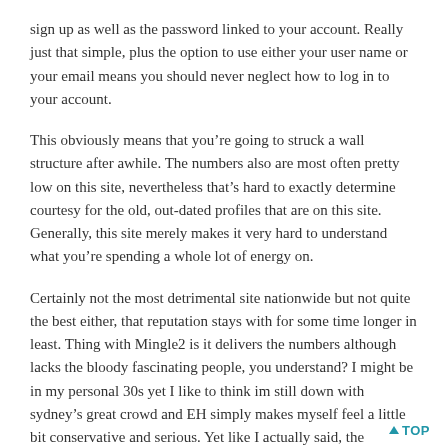sign up as well as the password linked to your account. Really just that simple, plus the option to use either your user name or your email means you should never neglect how to log in to your account.
This obviously means that you’re going to struck a wall structure after awhile. The numbers also are most often pretty low on this site, nevertheless that’s hard to exactly determine courtesy for the old, out-dated profiles that are on this site. Generally, this site merely makes it very hard to understand what you’re spending a whole lot of energy on.
Certainly not the most detrimental site nationwide but not quite the best either, that reputation stays with for some time longer in least. Thing with Mingle2 is it delivers the numbers although lacks the bloody fascinating people, you understand? I might be in my personal 30s yet I like to think im still down with sydney’s great crowd and EH simply makes myself feel a little bit conservative and serious. Yet like I actually said, the numbers happen to be bonzer.
Remember that your subscription to MinglePlus gets automatically reconditioned when it runs out, so you need to deactivate that manually